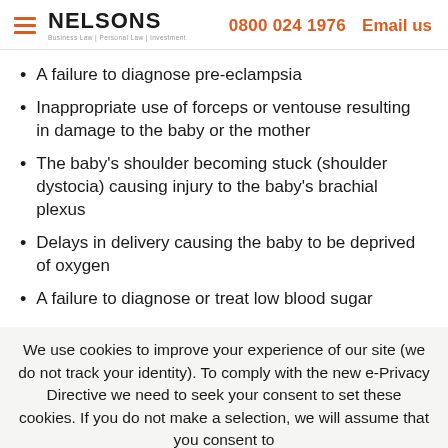NELSONS Business Law | Personal Law | Investment — 0800 024 1976 — Email us
A failure to diagnose pre-eclampsia
Inappropriate use of forceps or ventouse resulting in damage to the baby or the mother
The baby's shoulder becoming stuck (shoulder dystocia) causing injury to the baby's brachial plexus
Delays in delivery causing the baby to be deprived of oxygen
A failure to diagnose or treat low blood sugar
We use cookies to improve your experience of our site (we do not track your identity). To comply with the new e-Privacy Directive we need to seek your consent to set these cookies. If you do not make a selection, we will assume that you consent to the cookies being set. Find out more. Accept